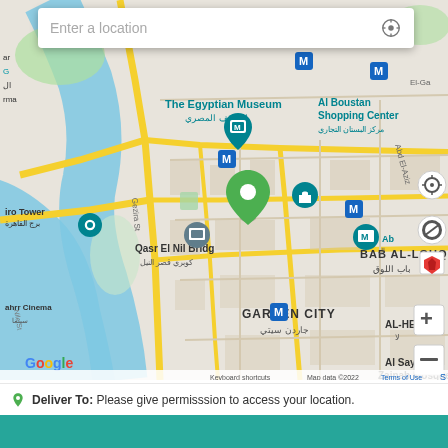[Figure (map): Google Maps screenshot showing central Cairo, Egypt. Shows The Egyptian Museum, Qasr El Nil Bridge, Bab Al-Louq, Garden City, Al Sayeda Zainab Mosque, Al Boustan Shopping Center areas. Map data ©2022. Includes metro stations, landmarks with icons, and Arabic street labels.]
Deliver To: Please give permisssion to access your location.